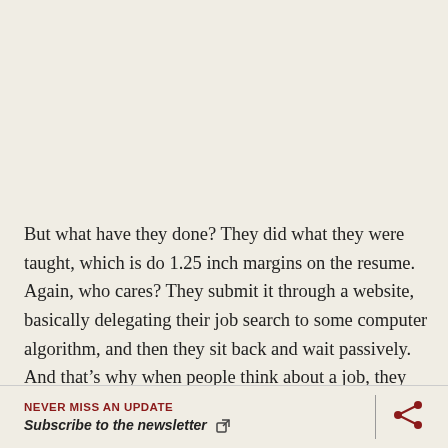But what have they done? They did what they were taught, which is do 1.25 inch margins on the resume. Again, who cares? They submit it through a website, basically delegating their job search to some computer algorithm, and then they sit back and wait passively. And that's why when people think about a job, they don't think about a dream job. But that's not how top candidates do it, and that's why I
NEVER MISS AN UPDATE
Subscribe to the newsletter